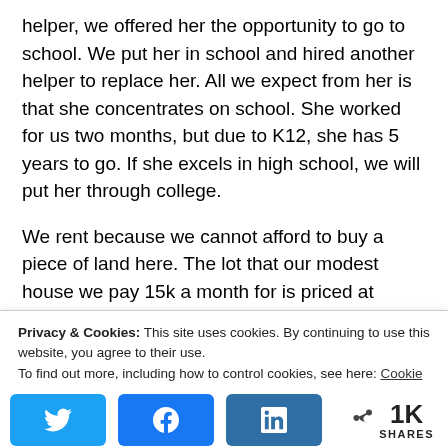helper, we offered her the opportunity to go to school. We put her in school and hired another helper to replace her. All we expect from her is that she concentrates on school. She worked for us two months, but due to K12, she has 5 years to go. If she excels in high school, we will put her through college.
We rent because we cannot afford to buy a piece of land here. The lot that our modest house we pay 15k a month for is priced at 3000php per meter.
Privacy & Cookies: This site uses cookies. By continuing to use this website, you agree to their use.
To find out more, including how to control cookies, see here: Cookie Policy